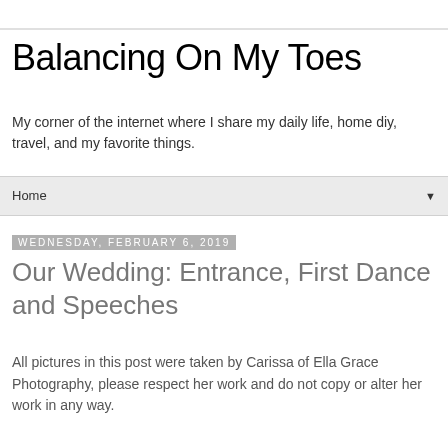Balancing On My Toes
My corner of the internet where I share my daily life, home diy, travel, and my favorite things.
Home
Wednesday, February 6, 2019
Our Wedding: Entrance, First Dance and Speeches
All pictures in this post were taken by Carissa of Ella Grace Photography, please respect her work and do not copy or alter her work in any way.